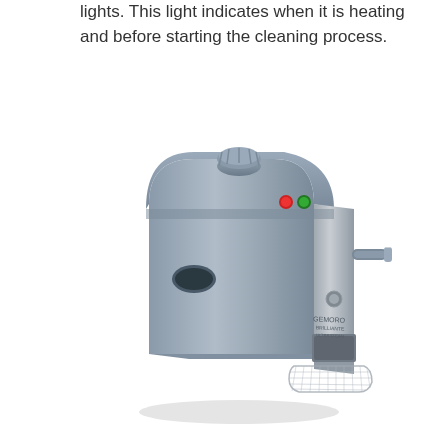lights. This light indicates when it is heating and before starting the cleaning process.
[Figure (photo): A gray jewelry steam cleaner machine (GEMORO brand) with a stainless steel front panel, a knob on top, red and green indicator buttons, an oval opening on the side, a steam nozzle handle on the right, and a wire mesh basket at the front bottom.]